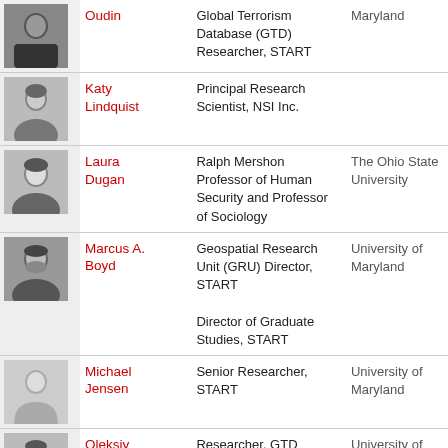| Photo | Name | Role | Organization |
| --- | --- | --- | --- |
| [photo] | Oudin | Global Terrorism Database (GTD) Researcher, START | Maryland |
| [photo] | Katy Lindquist | Principal Research Scientist, NSI Inc. |  |
| [photo] | Laura Dugan | Ralph Mershon Professor of Human Security and Professor of Sociology | The Ohio State University |
| [photo] | Marcus A. Boyd | Geospatial Research Unit (GRU) Director, START
Director of Graduate Studies, START | University of Maryland |
| [photo] | Michael Jensen | Senior Researcher, START | University of Maryland |
| [photo] | Oleksiy Krylyuk | Researcher, GTD | University of Maryland |